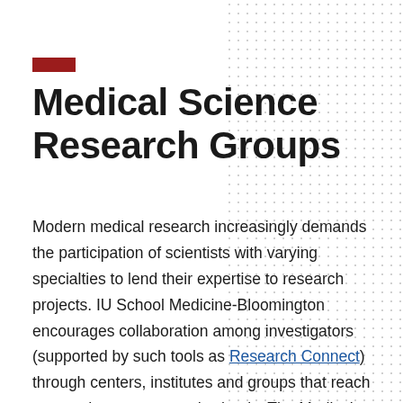Medical Science Research Groups
Modern medical research increasingly demands the participation of scientists with varying specialties to lend their expertise to research projects. IU School Medicine-Bloomington encourages collaboration among investigators (supported by such tools as Research Connect) through centers, institutes and groups that reach across departments and schools. The Medical Science Research Groups on the Bloomington campus are built on partnerships among multiple academic departments and different schools